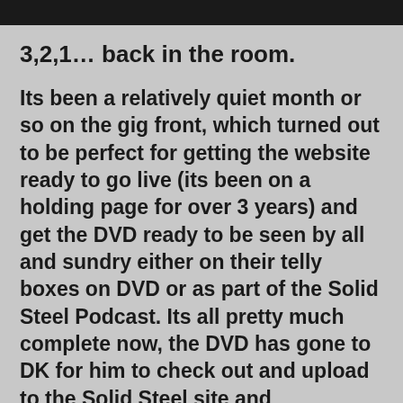3,2,1… back in the room.
Its been a relatively quiet month or so on the gig front, which turned out to be perfect for getting the website ready to go live (its been on a holding page for over 3 years) and get the DVD ready to be seen by all and sundry either on their telly boxes on DVD or as part of the Solid Steel Podcast. Its all pretty much complete now, the DVD has gone to DK for him to check out and upload to the Solid Steel site and associated iTunes podcast… very soon all this editing and development will finally hit the public domain. eek. Artwork is on its way from Byte Design who brilliantly helped with the design of 'The Case